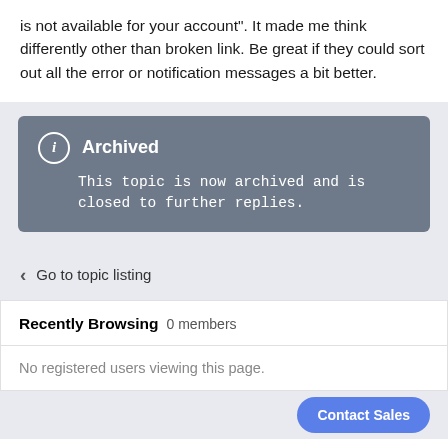is not available for your account". It made me think differently other than broken link. Be great if they could sort out all the error or notification messages a bit better.
Archived
This topic is now archived and is closed to further replies.
Go to topic listing
Recently Browsing   0 members
No registered users viewing this page.
Contact Sales
Trending Content